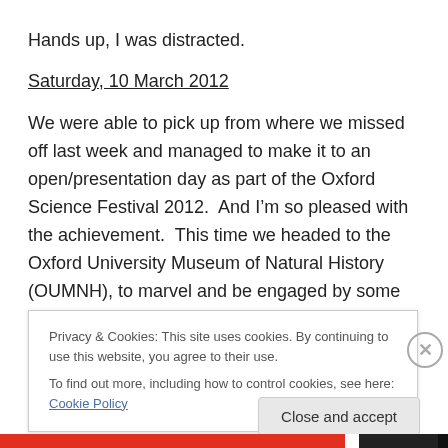Hands up, I was distracted.
Saturday, 10 March 2012
We were able to pick up from where we missed off last week and managed to make it to an open/presentation day as part of the Oxford Science Festival 2012.  And I’m so pleased with the achievement.  This time we headed to the Oxford University Museum of Natural History (OUMNH), to marvel and be engaged by some really into their subject volunteers.  It was so great.  Compromising
Privacy & Cookies: This site uses cookies. By continuing to use this website, you agree to their use. To find out more, including how to control cookies, see here: Cookie Policy
Close and accept